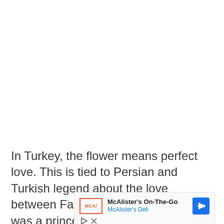In Turkey, the flower means perfect love. This is tied to Persian and Turkish legend about the love between Farhad and Shirin. Farhad was a prince
[Figure (other): Advertisement for McAlister's On-The-Go mobile app by McAlister's Deli, showing logo, title text, blue subtitle, a navigation arrow icon, and media control buttons.]